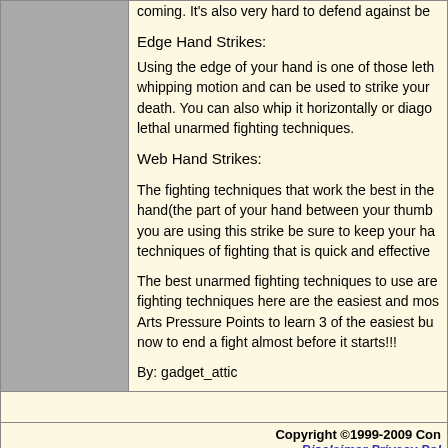coming. It's also very hard to defend against be
Edge Hand Strikes:
Using the edge of your hand is one of those leth whipping motion and can be used to strike your death. You can also whip it horizontally or diago lethal unarmed fighting techniques.
Web Hand Strikes:
The fighting techniques that work the best in the hand(the part of your hand between your thumb you are using this strike be sure to keep your ha techniques of fighting that is quick and effective
The best unarmed fighting techniques to use are fighting techniques here are the easiest and mos Arts Pressure Points to learn 3 of the easiest bu now to end a fight almost before it starts!!!
By: gadget_attic
Copyright ©1999-2009 Con Disclaimer Privacy Pol